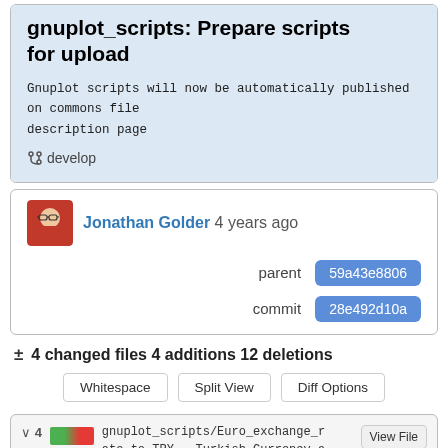gnuplot_scripts: Prepare scripts for upload
Gnuplot scripts will now be automatically published on commons file description page
develop
Jonathan Golder 4 years ago
parent 59a43e8806
commit 28e492d10a
± 4 changed files 4 additions 12 deletions
Whitespace  Split View  Diff Options
gnuplot_scripts/Euro_exchange_rate_to_TRY_-_Turkish_Currency_and_Debt_Crisis_2018.plt